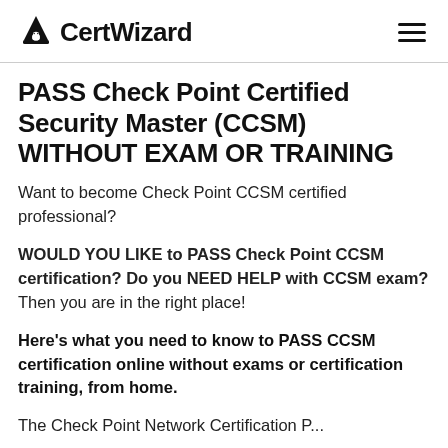CertWizard
PASS Check Point Certified Security Master (CCSM) WITHOUT EXAM OR TRAINING
Want to become Check Point CCSM certified professional?
WOULD YOU LIKE to PASS Check Point CCSM certification? Do you NEED HELP with CCSM exam? Then you are in the right place!
Here's what you need to know to PASS CCSM certification online without exams or certification training, from home.
The Check Point Network Certification P...